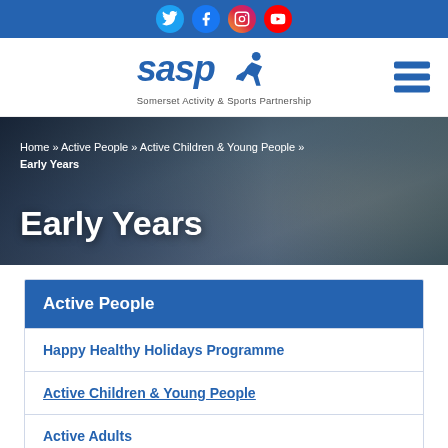[Figure (infographic): Social media icon bar with Twitter, Facebook, Instagram, YouTube icons on blue background]
[Figure (logo): SASP Somerset Activity & Sports Partnership logo with running figure, and hamburger menu icon]
[Figure (photo): Hero banner photo of children doing gymnastics/sports activities, blurred action shot]
Home » Active People » Active Children & Young People » Early Years
Early Years
Active People
Happy Healthy Holidays Programme
Active Children & Young People
Active Adults
Be Active At Home